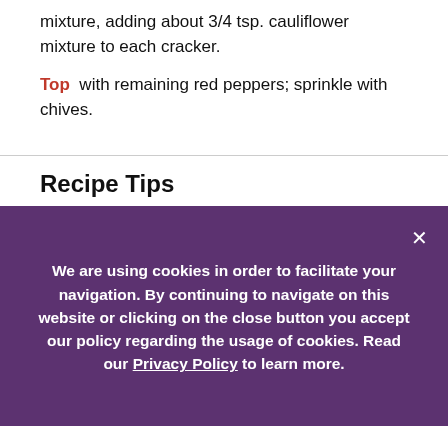mixture, adding about 3/4 tsp. cauliflower mixture to each cracker.
Top with remaining red peppers; sprinkle with chives.
Recipe Tips
Note
If cauliflower mixture is too thick to easily spread onto the crackers, gradually add more water, 1 tsp. at a time, to cauliflower mixture in blender until cauliflower is of desired spreading consistency.
Nutrition Notes
Good Source of Vitamin C.
We are using cookies in order to facilitate your navigation. By continuing to navigate on this website or clicking on the close button you accept our policy regarding the usage of cookies. Read our Privacy Policy to learn more.